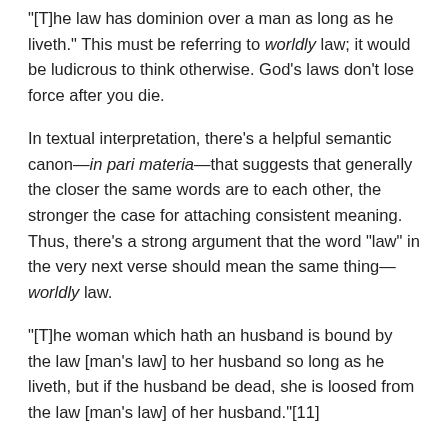“[T]he law has dominion over a man as long as he liveth.” This must be referring to worldly law; it would be ludicrous to think otherwise. God’s laws don’t lose force after you die.
In textual interpretation, there’s a helpful semantic canon—in pari materia—that suggests that generally the closer the same words are to each other, the stronger the case for attaching consistent meaning. Thus, there’s a strong argument that the word “law” in the very next verse should mean the same thing—worldly law.
“[T]he woman which hath an husband is bound by the law [man’s law] to her husband so long as he liveth, but if the husband be dead, she is loosed from the law [man’s law] of her husband.”[11]
So, the guy on the radio was probably only half-wrong.
According to the Bible, there is a type of marriage that clearly